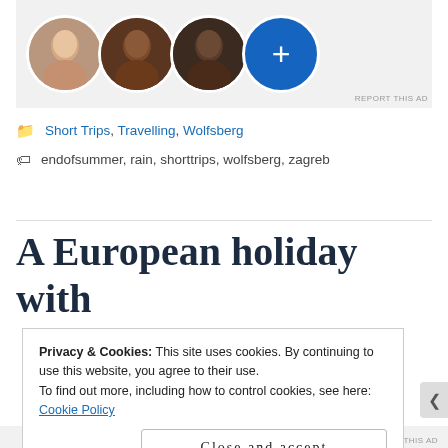[Figure (illustration): Ad area with three circular avatar photos and a blue plus button circle on a light gray background]
REPORT THIS AD
Short Trips, Travelling, Wolfsberg
endofsummer, rain, shorttrips, wolfsberg, zagreb
A European holiday with
Privacy & Cookies: This site uses cookies. By continuing to use this website, you agree to their use.
To find out more, including how to control cookies, see here: Cookie Policy
Close and accept
REPORT THIS AD